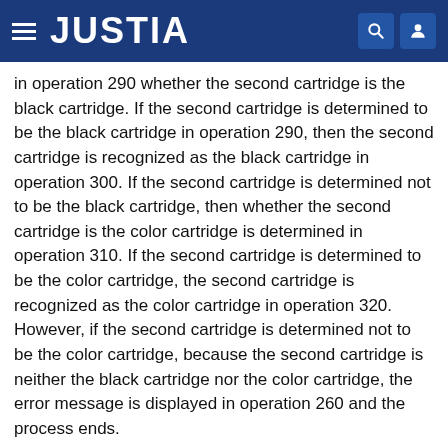JUSTIA
in operation 290 whether the second cartridge is the black cartridge. If the second cartridge is determined to be the black cartridge in operation 290, then the second cartridge is recognized as the black cartridge in operation 300. If the second cartridge is determined not to be the black cartridge, then whether the second cartridge is the color cartridge is determined in operation 310. If the second cartridge is determined to be the color cartridge, the second cartridge is recognized as the color cartridge in operation 320. However, if the second cartridge is determined not to be the color cartridge, because the second cartridge is neither the black cartridge nor the color cartridge, the error message is displayed in operation 260 and the process ends.
[0048] Although many items are detailed in the above